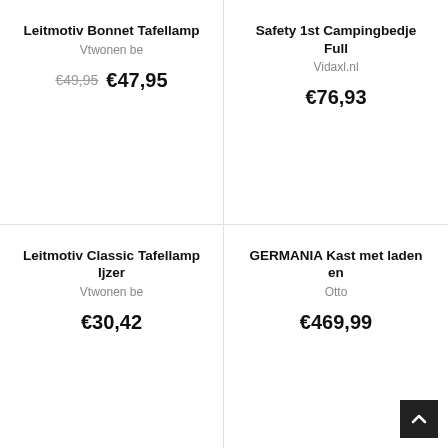Leitmotiv Bonnet Tafellamp
Vtwonen be
€49,95  €47,95
Safety 1st Campingbedje Full
Vidaxl.nl
€76,93
Leitmotiv Classic Tafellamp Ijzer
Vtwonen be
€30,42
GERMANIA Kast met laden en
Otto
€469,99